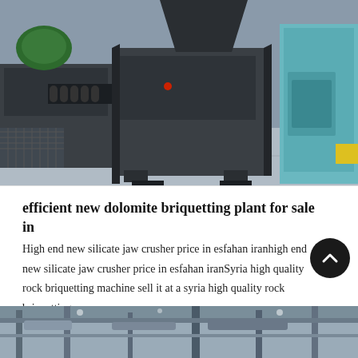[Figure (photo): Industrial briquetting or crushing machinery in a factory setting. Large dark grey metal machines with rollers and mechanical components on a factory floor. A teal/cyan colored machine visible on the right side.]
efficient new dolomite briquetting plant for sale in
High end new silicate jaw crusher price in esfahan iranhigh end new silicate jaw crusher price in esfahan iranSyria high quality rock briquetting machine sell it at a syria high quality rock briquetting…
[Figure (photo): Partial view of industrial factory or warehouse interior showing structural elements and equipment.]